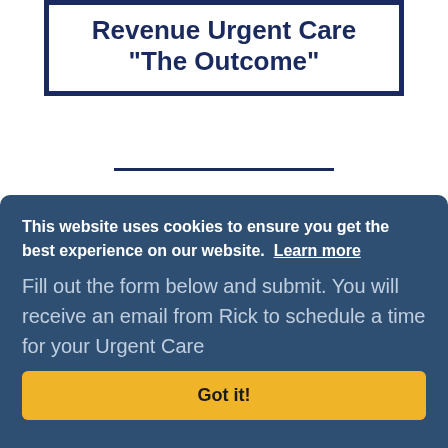Revenue Urgent Care "The Outcome"
Revenue Science Urgent Care Intake Form
This website uses cookies to ensure you get the best experience on our website. Learn more
Fill out the form below and submit. You will receive an email from Rick to schedule a time for your Urgent Care
Got it!